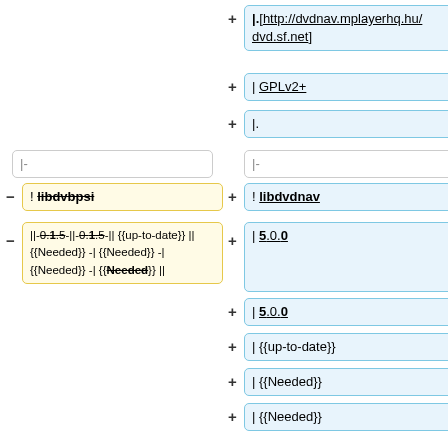+ |.[http://dvdnav.mplayerhq.hu/ dvd.sf.net]
+ | GPLv2+
+ |.
|- (left plain box)
|- (right plain box)
- ! libdvbpsi
+ ! libdvdnav
- ||-0.1.5-||-0.1.5-|| {{up-to-date}} || {{Needed}} -| {{Needed}} -| {{Needed}} -| {{Needed}} ||
+ | 5.0.0
+ | 5.0.0
+ | {{up-to-date}}
+ | {{Needed}}
+ | {{Needed}}